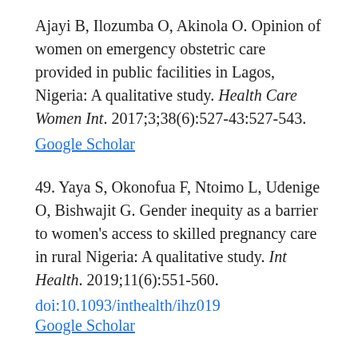Ajayi B, Ilozumba O, Akinola O. Opinion of women on emergency obstetric care provided in public facilities in Lagos, Nigeria: A qualitative study. Health Care Women Int. 2017;3;38(6):527-43:527-543.
Google Scholar
49. Yaya S, Okonofua F, Ntoimo L, Udenige O, Bishwajit G. Gender inequity as a barrier to women's access to skilled pregnancy care in rural Nigeria: A qualitative study. Int Health. 2019;11(6):551-560.
doi:10.1093/inthealth/ihz019
Google Scholar